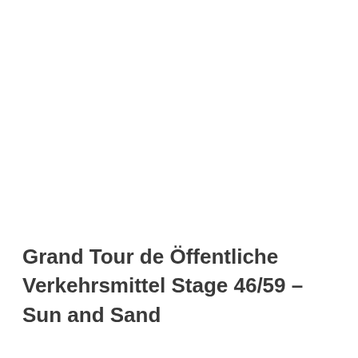Grand Tour de Öffentliche Verkehrsmittel Stage 46/59 – Sun and Sand